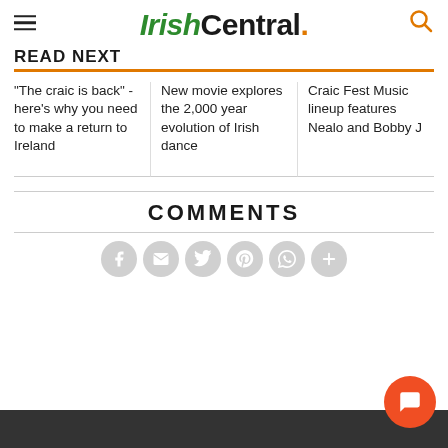IrishCentral.
READ NEXT
"The craic is back" - here's why you need to make a return to Ireland
New movie explores the 2,000 year evolution of Irish dance
Craic Fest Music lineup features Nealo and Bobby J
COMMENTS